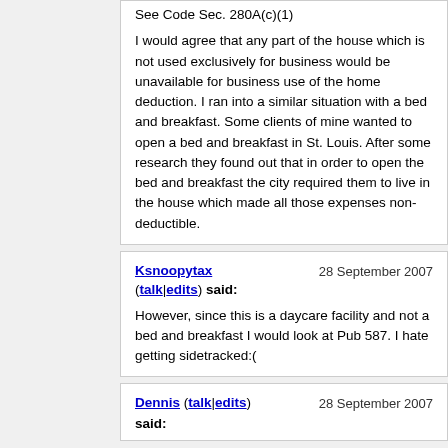See Code Sec. 280A(c)(1)
I would agree that any part of the house which is not used exclusively for business would be unavailable for business use of the home deduction. I ran into a similar situation with a bed and breakfast. Some clients of mine wanted to open a bed and breakfast in St. Louis. After some research they found out that in order to open the bed and breakfast the city required them to live in the house which made all those expenses non-deductible.
Ksnoopytax (talk|edits) said: 28 September 2007
However, since this is a daycare facility and not a bed and breakfast I would look at Pub 587. I hate getting sidetracked:(
Dennis (talk|edits) said: 28 September 2007